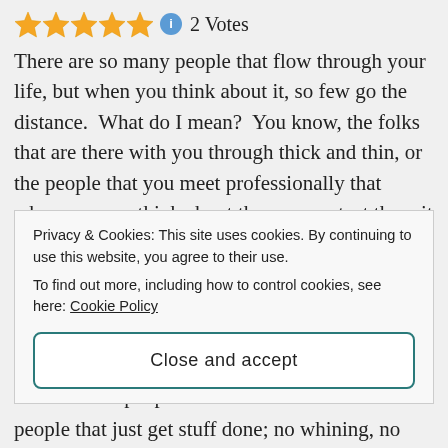★★★★★ ℹ 2 Votes
There are so many people that flow through your life, but when you think about it, so few go the distance.  What do I mean?  You know, the folks that are there with you through thick and thin, or the people that you meet professionally that whenever you think about them or contact them it is like you spoke to them yesterday.  The people that you respect, admire, that admire you; the people that you have gone into battle with and experienced success or failure, but that left an indelible mark on your life.  On the personal side, these are the people
Privacy & Cookies: This site uses cookies. By continuing to use this website, you agree to their use.
To find out more, including how to control cookies, see here: Cookie Policy
Close and accept
people that just get stuff done; no whining, no